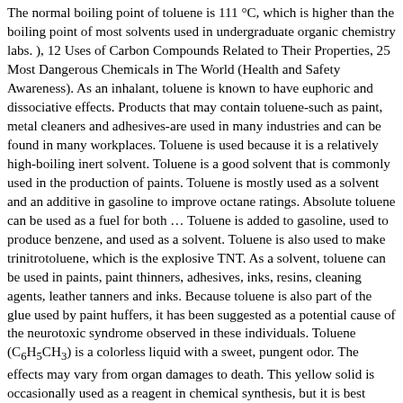The normal boiling point of toluene is 111 °C, which is higher than the boiling point of most solvents used in undergraduate organic chemistry labs. ), 12 Uses of Carbon Compounds Related to Their Properties, 25 Most Dangerous Chemicals in The World (Health and Safety Awareness). As an inhalant, toluene is known to have euphoric and dissociative effects. Products that may contain toluene-such as paint, metal cleaners and adhesives-are used in many industries and can be found in many workplaces. Toluene is used because it is a relatively high-boiling inert solvent. Toluene is a good solvent that is commonly used in the production of paints. Toluene is mostly used as a solvent and an additive in gasoline to improve octane ratings. Absolute toluene can be used as a fuel for both … Toluene is added to gasoline, used to produce benzene, and used as a solvent. Toluene is also used to make trinitrotoluene, which is the explosive TNT. As a solvent, toluene can be used in paints, paint thinners, adhesives, inks, resins, cleaning agents, leather tanners and inks. Because toluene is also part of the glue used by paint huffers, it has been suggested as a potential cause of the neurotoxic syndrome observed in these individuals. Toluene (C₆H₅CH₃) is a colorless liquid with a sweet, pungent odor. The effects may vary from organ damages to death. This yellow solid is occasionally used as a reagent in chemical synthesis, but it is best known as an explosive material with convenient handling properties. Toluene as a solvent used in carbon nanotubes like fullerenes. Toluene (Methyl Benzene) Toluene is a used as paint, lacquer thinner, or a dyeing agent. Trade Names and Synonyms: Methylbenzene Methacide Phenylmethane Toluol Toluene is an organic liquid with a sweet, benzene-like odor. It is a colorless, water-insoluble liquid with the smell associated with paint thinners. Toluene can occasionally be observed as hazardous...